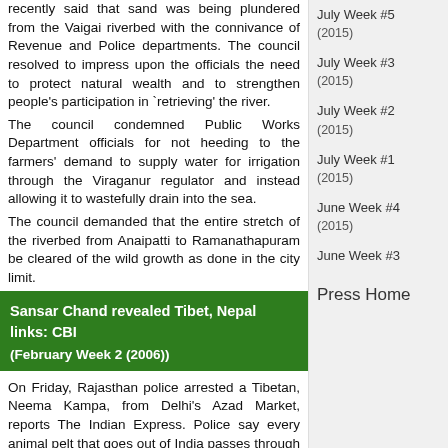recently said that sand was being plundered from the Vaigai riverbed with the connivance of Revenue and Police departments. The council resolved to impress upon the officials the need to protect natural wealth and to strengthen people's participation in 'retrieving' the river.
The council condemned Public Works Department officials for not heeding to the farmers' demand to supply water for irrigation through the Viraganur regulator and instead allowing it to wastefully drain into the sea.
The council demanded that the entire stretch of the riverbed from Anaipatti to Ramanathapuram be cleared of the wild growth as done in the city limit.
Sansar Chand revealed Tibet, Nepal links: CBI
(February Week 2 (2006))
On Friday, Rajasthan police arrested a Tibetan, Neema Kampa, from Delhi's Azad Market, reports The Indian Express. Police say every animal pelt that goes out of India passes through the hands of his gang.
Poacher Sansar Chand, too, had told the Rajasthan Police and the CBI that the skins he sold to international dealers, mostly from
July Week #5 (2015)
July Week #3 (2015)
July Week #2 (2015)
July Week #1 (2015)
June Week #4 (2015)
June Week #3
Press Home